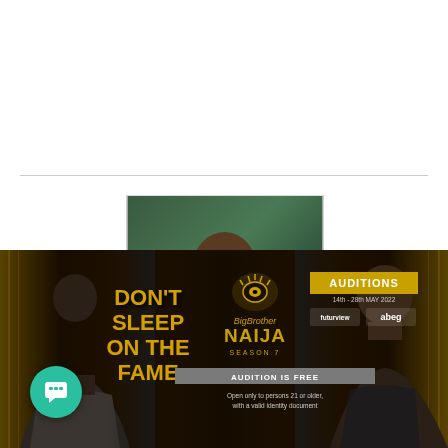[Figure (photo): Profile photo of Samuel Azubuko (Prince Samzy), a young man in a black t-shirt against a dark green background, shown from the waist up]
About admin › 5587 Articles
My Name Is Samuel Azubuko, Well Known As Prince Samzy, Am a Music, Entertainment and Movie Content Creator For
[Figure (photo): Big Brother Naija Season 7 advertisement banner showing two people and text: DON'T SLEEP ON THE FAME, BigBrother NAIJA SEASON 7, AUDITIONS, AUDITION IS FREE, Open only to persons 21 or older with a valid identity document]